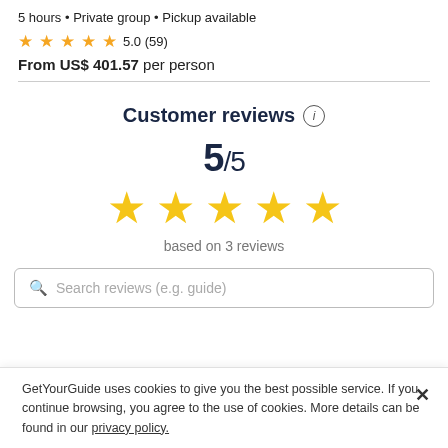5 hours • Private group • Pickup available
★★★★★ 5.0 (59)
From US$ 401.57 per person
Customer reviews ⓘ
5/5
[Figure (other): Five large gold stars representing 5 out of 5 rating]
based on 3 reviews
Search reviews (e.g. guide)
GetYourGuide uses cookies to give you the best possible service. If you continue browsing, you agree to the use of cookies. More details can be found in our privacy policy.